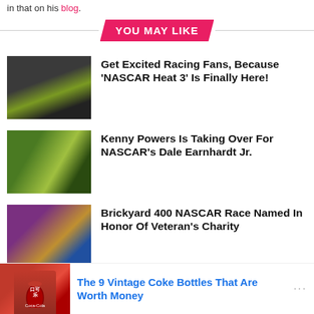in that on his blog.
YOU MAY LIKE
[Figure (photo): NASCAR race cars on a track]
Get Excited Racing Fans, Because 'NASCAR Heat 3' Is Finally Here!
[Figure (photo): Two people in NASCAR racing gear]
Kenny Powers Is Taking Over For NASCAR's Dale Earnhardt Jr.
[Figure (photo): Brickyard 400 NASCAR race event signage]
Brickyard 400 NASCAR Race Named In Honor Of Veteran's Charity
[Figure (photo): Bristol Motor Speedway aerial view]
How Bristol Motor Speedway Will Become A College Football Stadium
[Figure (photo): Coca-Cola vintage bottle advertisement]
The 9 Vintage Coke Bottles That Are Worth Money